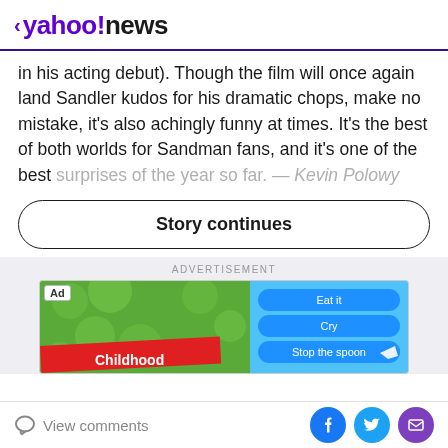< yahoo!news
in his acting debut). Though the film will once again land Sandler kudos for his dramatic chops, make no mistake, it's also achingly funny at times. It's the best of both worlds for Sandman fans, and it's one of the best surprises of the year so far. — Kevin Polowy
Story continues
ADVERTISEMENT
[Figure (photo): Advertisement banner showing green leafy background with blue buttons labeled 'Eat it', 'Cry', 'Stop the spoon' and red banner reading 'Childhood']
View comments